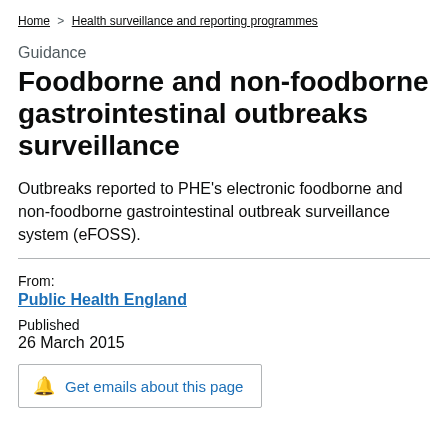Home > Health surveillance and reporting programmes
Guidance
Foodborne and non-foodborne gastrointestinal outbreaks surveillance
Outbreaks reported to PHE's electronic foodborne and non-foodborne gastrointestinal outbreak surveillance system (eFOSS).
From:
Public Health England
Published
26 March 2015
Get emails about this page